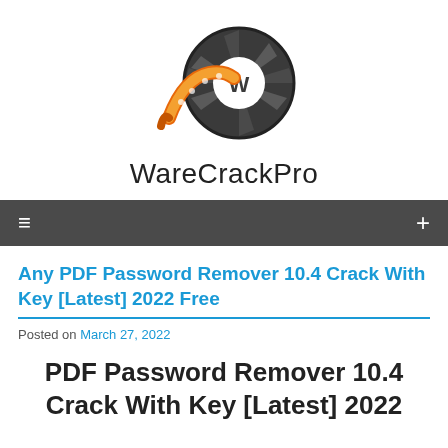[Figure (logo): WareCrackPro logo: orange film strip curving into a dark gray camera aperture/shutter icon with a white W in the center]
WareCrackPro
≡  +
Any PDF Password Remover 10.4 Crack With Key [Latest] 2022 Free
Posted on March 27, 2022
PDF Password Remover 10.4 Crack With Key [Latest] 2022